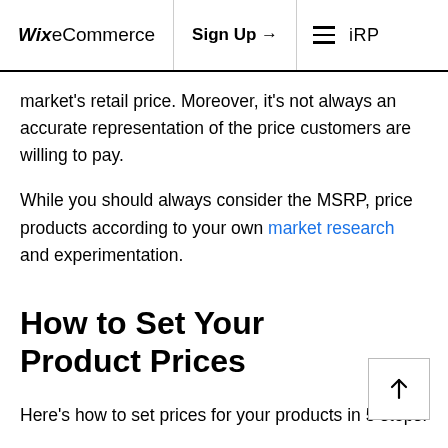Wix eCommerce | Sign Up → | iRP
market's retail price. Moreover, it's not always an accurate representation of the price customers are willing to pay.
While you should always consider the MSRP, price products according to your own market research and experimentation.
How to Set Your Product Prices
Here's how to set prices for your products in 5 steps: